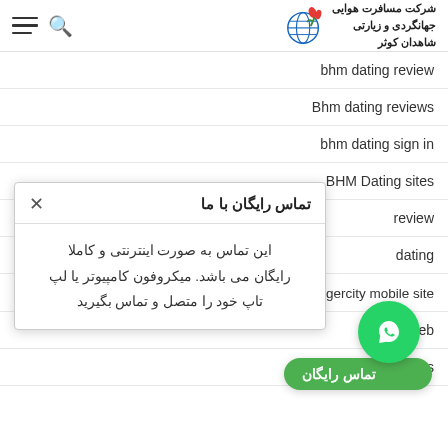شرکت مسافرت هوایی جهانگردی و زیارتی شاهدان کوثر
bhm dating review
Bhm dating reviews
bhm dating sign in
BHM Dating sites
[Figure (screenshot): A popup dialog titled 'تماس رایگان با ما' (Free contact with us) with body text in Persian: 'این تماس به صورت اینترنتی و کاملا رایگان می باشد. میکروفون کامپیوتر یا لپ تاپ خود را متصل و تماس بگیرید']
biggercity mobile site
...y web
...app reviews